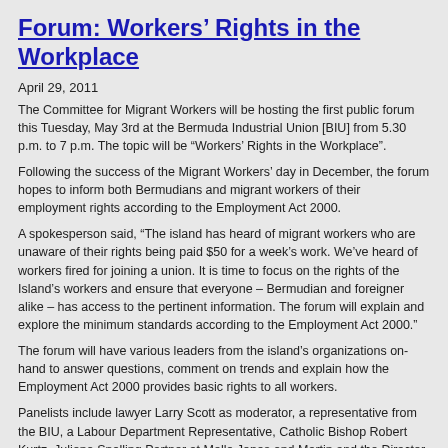Forum: Workers' Rights in the Workplace
April 29, 2011
The Committee for Migrant Workers will be hosting the first public forum this Tuesday, May 3rd at the Bermuda Industrial Union [BIU] from 5.30 p.m. to 7 p.m. The topic will be “Workers’ Rights in the Workplace”.
Following the success of the Migrant Workers’ day in December, the forum hopes to inform both Bermudians and migrant workers of their employment rights according to the Employment Act 2000.
A spokesperson said, “The island has heard of migrant workers who are unaware of their rights being paid $50 for a week’s work. We’ve heard of workers fired for joining a union. It is time to focus on the rights of the Island’s workers and ensure that everyone – Bermudian and foreigner alike – has access to the pertinent information. The forum will explain and explore the minimum standards according to the Employment Act 2000.”
The forum will have various leaders from the island’s organizations on-hand to answer questions, comment on trends and explain how the Employment Act 2000 provides basic rights to all workers.
Panelists include lawyer Larry Scott as moderator, a representative from the BIU, a Labour Department Representative, Catholic Bishop Robert Kurtz, Juliana Snelling Partner at Mello Jones and Martin and the Director of Amnesty International Bermuda, Robyn Skinner.